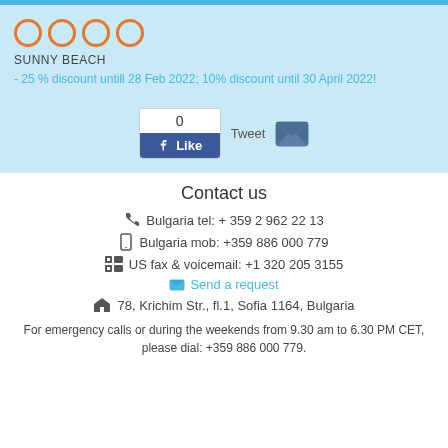[Figure (other): Four orange outlined star/circle rating icons representing hotel star rating]
SUNNY BEACH
- 25 % discount untill 28 Feb 2022; 10% discount until 30 April 2022!
[Figure (other): Facebook Like widget showing count of 0 and Like button, Tweet label, and email envelope icon]
Contact us
Bulgaria tel: + 359 2 962 22 13
Bulgaria mob: +359 886 000 779
US fax & voicemail: +1 320 205 3155
Send a request
78, Krichim Str., fl.1, Sofia 1164, Bulgaria
For emergency calls or during the weekends from 9.30 am to 6.30 PM CET, please dial: +359 886 000 779.